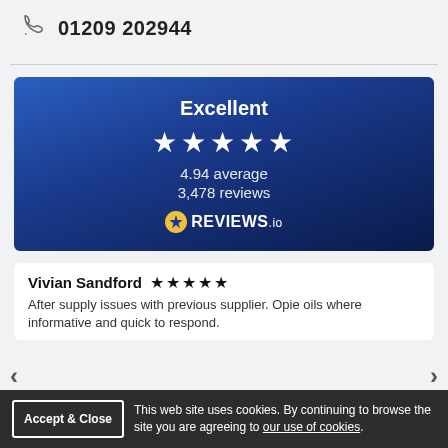01209 202944
[Figure (other): Reviews.io widget showing Excellent rating with 5 stars, 4.94 average, 3,478 reviews]
Vivian Sandford ★★★★★
After supply issues with previous supplier. Opie oils where informative and quick to respond.
This web site uses cookies. By continuing to browse the site you are agreeing to our use of cookies.